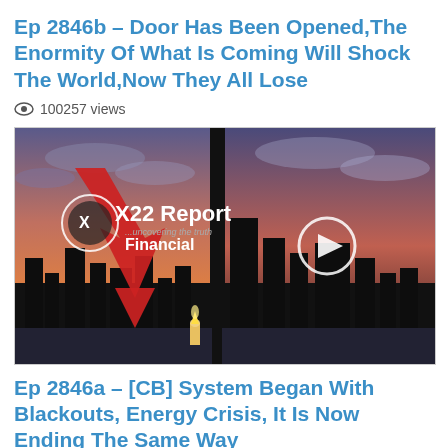Ep 2846b – Door Has Been Opened,The Enormity Of What Is Coming Will Shock The World,Now They All Lose
100257 views
[Figure (screenshot): X22 Report Financial video thumbnail showing city skyline at sunset/dusk with red downward arrow graphic and candle. Play button overlay in center. Text reads 'X22 Report Financial ...uncovering the truth']
Ep 2846a – [CB] System Began With Blackouts, Energy Crisis, It Is Now Ending The Same Way